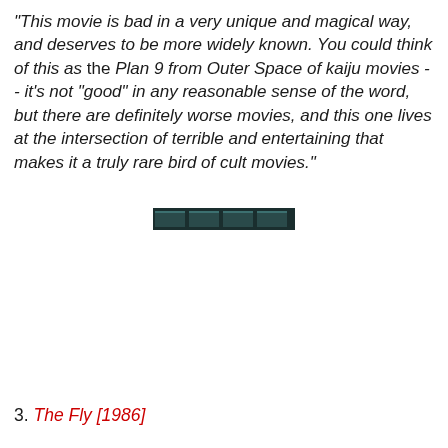"This movie is bad in a very unique and magical way, and deserves to be more widely known. You could think of this as the Plan 9 from Outer Space of kaiju movies -- it's not "good" in any reasonable sense of the word, but there are definitely worse movies, and this one lives at the intersection of terrible and entertaining that makes it a truly rare bird of cult movies."
[Figure (screenshot): A small dark horizontal banner or screenshot element, approximately 142x22px, dark teal/black colored, appearing to be a partial UI element or image strip.]
3. The Fly [1986]